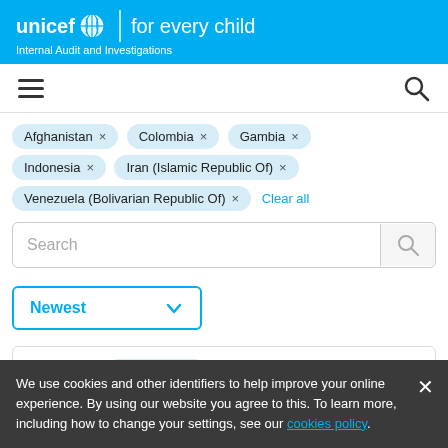unicef for every child — Internal Audit and Investigations
[Figure (screenshot): Navigation bar with hamburger menu and search icon]
Afghanistan ×
Colombia ×
Gambia ×
Indonesia ×
Iran (Islamic Republic Of) ×
Venezuela (Bolivarian Republic Of) ×
Clear all
Search
Newest
Locations   6 Selected ×
We use cookies and other identifiers to help improve your online experience. By using our website you agree to this. To learn more, including how to change your settings, see our cookies policy.